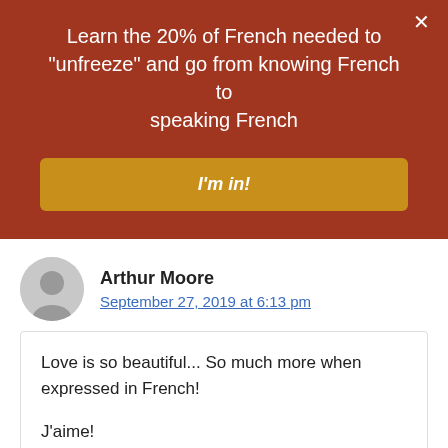Learn the 20% of French needed to "unfreeze" and go from knowing French to speaking French
I'm in!
Arthur Moore
September 27, 2019 at 6:13 pm
Love is so beautiful... So much more when expressed in French!

J'aime!

Reply